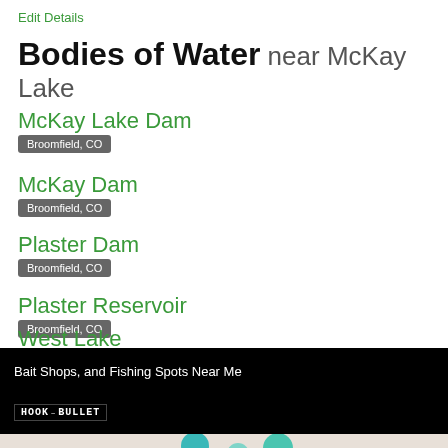Edit Details
Bodies of Water near McKay Lake
McKay Lake Dam — Broomfield, CO
McKay Dam — Broomfield, CO
Plaster Dam — Broomfield, CO
Plaster Reservoir — Broomfield, CO
West Lake — Broomfield, CO
Bait Shops, and Fishing Spots Near Me
[Figure (screenshot): Hook and Bullet logo on black background with map location pins below]